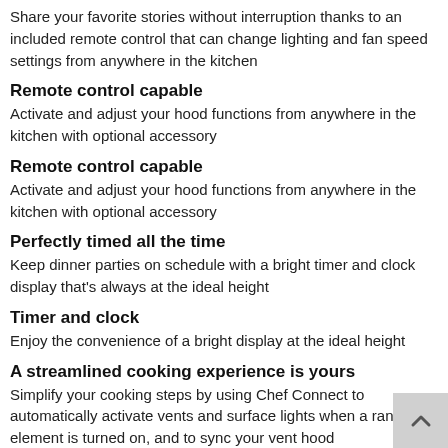Share your favorite stories without interruption thanks to an included remote control that can change lighting and fan speed settings from anywhere in the kitchen
Remote control capable
Activate and adjust your hood functions from anywhere in the kitchen with optional accessory
Remote control capable
Activate and adjust your hood functions from anywhere in the kitchen with optional accessory
Perfectly timed all the time
Keep dinner parties on schedule with a bright timer and clock display that's always at the ideal height
Timer and clock
Enjoy the convenience of a bright display at the ideal height
A streamlined cooking experience is yours
Simplify your cooking steps by using Chef Connect to automatically activate vents and surface lights when a range element is turned on, and to sync your vent hood